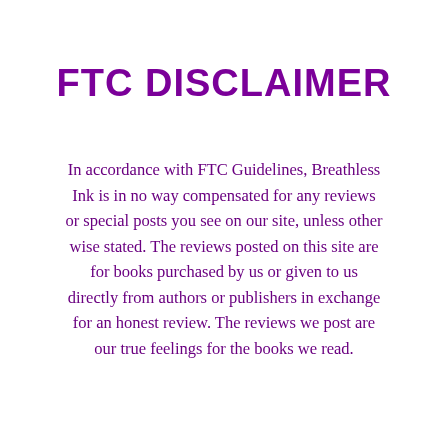FTC DISCLAIMER
In accordance with FTC Guidelines, Breathless Ink is in no way compensated for any reviews or special posts you see on our site, unless other wise stated. The reviews posted on this site are for books purchased by us or given to us directly from authors or publishers in exchange for an honest review. The reviews we post are our true feelings for the books we read.